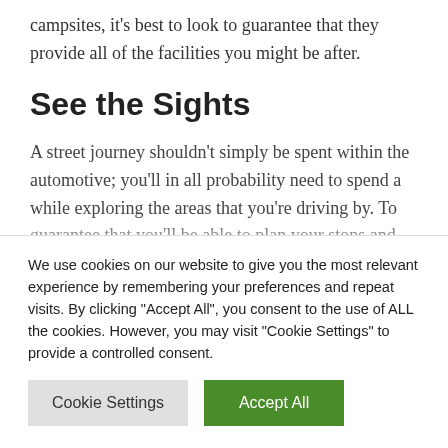campsites, it's best to look to guarantee that they provide all of the facilities you might be after.
See the Sights
A street journey shouldn't simply be spent within the automotive; you'll in all probability need to spend a while exploring the areas that you're driving by. To guarantee that you'll be able to plan your stops and see the sights, it's best to perform some research in regards to the space
We use cookies on our website to give you the most relevant experience by remembering your preferences and repeat visits. By clicking "Accept All", you consent to the use of ALL the cookies. However, you may visit "Cookie Settings" to provide a controlled consent.